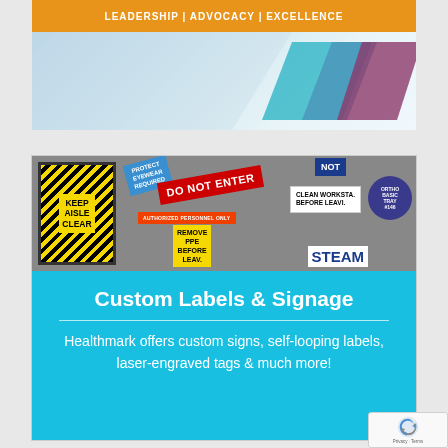[Figure (infographic): Top banner with orange bar reading 'LEADERSHIP | ADVOCACY | EXCELLENCE' and a blue/teal geometric background with diagonal stripe accents]
[Figure (infographic): Advertisement card for Healthmark custom labels and signage. Top half shows a photo collage of various workplace safety signs including 'KEEP AISLE CLEAR', 'DO NOT ENTER', 'PROTECT EYEWEAR REQUIRED', 'AUTHORIZED PERSONNEL ONLY', 'REMOVE PPE BEFORE LEAVING', 'CLEAN WORKSTATION BEFORE LEAVING', 'STEAM', and a round 'ORTHO BASIC TRAY #146' tag. Bottom half is a bright blue panel with white text reading 'Custom Labels & Signage' with a horizontal divider, then 'Healthmark offers custom signs, self-looping labels, laser-engraved tags & much more!']